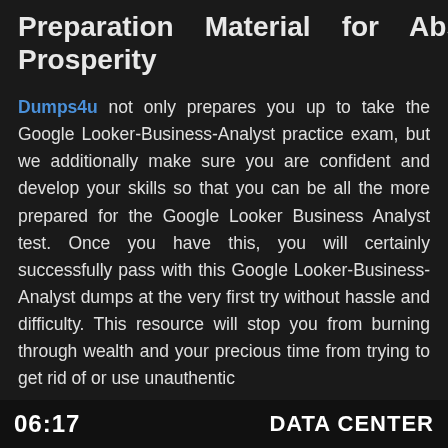Preparation Material for Absolute Prosperity
Dumps4u not only prepares you up to take the Google Looker-Business-Analyst practice exam, but we additionally make sure you are confident and develop your skills so that you can be all the more prepared for the Google Looker Business Analyst test. Once you have this, you will certainly successfully pass with this Google Looker-Business-Analyst dumps at the very first try without hassle and difficulty. This resource will stop you from burning through wealth and your precious time from trying to get rid of or use unauthentic
06:17   DATA CENTER